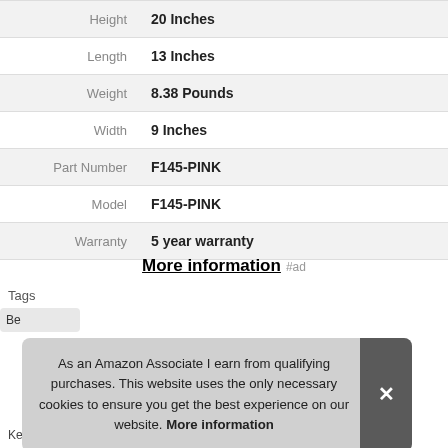| Height | 20 Inches |
| Length | 13 Inches |
| Weight | 8.38 Pounds |
| Width | 9 Inches |
| Part Number | F145-PINK |
| Model | F145-PINK |
| Warranty | 5 year warranty |
More information #ad
As an Amazon Associate I earn from qualifying purchases. This website uses the only necessary cookies to ensure you get the best experience on our website. More information
Tags
Kenneth Cole REACTION   Rockland   Samsonite   Wrangler